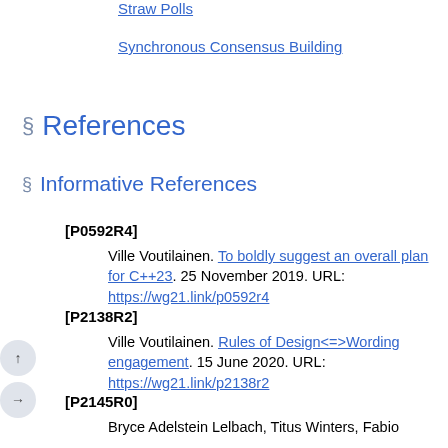Straw Polls
Synchronous Consensus Building
References
Informative References
[P0592R4]
Ville Voutilainen. To boldly suggest an overall plan for C++23. 25 November 2019. URL: https://wg21.link/p0592r4
[P2138R2]
Ville Voutilainen. Rules of Design<=>Wording engagement. 15 June 2020. URL: https://wg21.link/p2138r2
[P2145R0]
Bryce Adelstein Lelbach, Titus Winters, Fabio